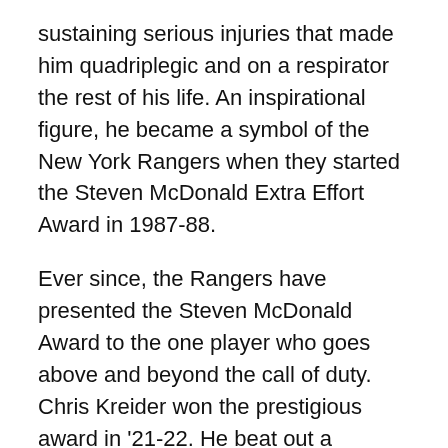sustaining serious injuries that made him quadriplegic and on a respirator the rest of his life. An inspirational figure, he became a symbol of the New York Rangers when they started the Steven McDonald Extra Effort Award in 1987-88.
Ever since, the Rangers have presented the Steven McDonald Award to the one player who goes above and beyond the call of duty. Chris Kreider won the prestigious award in '21-22. He beat out a competitive field that included Team MVP and Vezina winner Igor Shestyorkin, Adam Fox, Mika Zibanejad and Ryan Lindgren.
Since his father passed away on Jan. 10, 2017, son Conor has presented the award along with Mom Patti. For three decades, Steven McDonald lived on and showed this city what it was like to be a New Yorker. He always had a smile